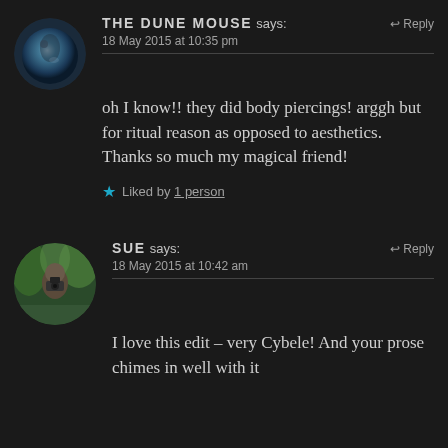[Figure (photo): Circular avatar image of The Dune Mouse, showing a reflective spherical object with a figure reflected in it, dark background]
THE DUNE MOUSE says: Reply
18 May 2015 at 10:35 pm
oh I know!! they did body piercings! arggh but for ritual reason as opposed to aesthetics. Thanks so much my magical friend!
★ Liked by 1 person
[Figure (photo): Circular avatar photo of Sue, a woman holding a camera, outdoors with green trees in background]
SUE says: Reply
18 May 2015 at 10:42 am
I love this edit – very Cybele! And your prose chimes in well with it